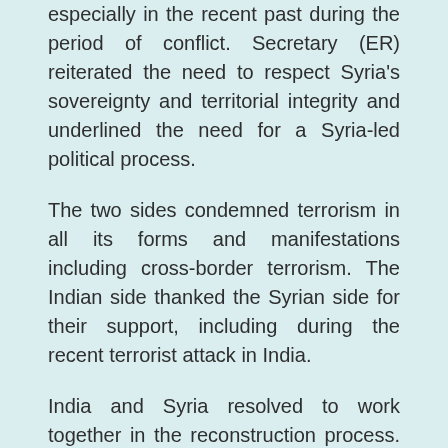especially in the recent past during the period of conflict. Secretary (ER) reiterated the need to respect Syria's sovereignty and territorial integrity and underlined the need for a Syria-led political process.
The two sides condemned terrorism in all its forms and manifestations including cross-border terrorism. The Indian side thanked the Syrian side for their support, including during the recent terrorist attack in India.
India and Syria resolved to work together in the reconstruction process. India has already taken up the construction of the Tishreen Power Plant under an Indian Line of Credit. India will also upgrade India-Syria Centre for Excellence in Information Technology. Closer